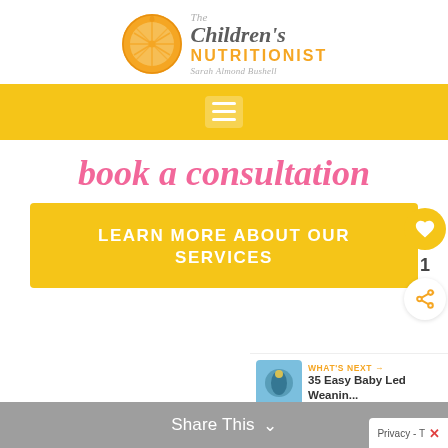[Figure (logo): The Children's Nutritionist logo with orange slice graphic and text 'The Children's NUTRITIONIST Sarah Almond Bushell']
[Figure (screenshot): Yellow navigation bar with hamburger menu icon (three white lines on semi-transparent white rectangle)]
book a consultation
LEARN MORE ABOUT OUR SERVICES
[Figure (infographic): Yellow heart/like button, number 1, and share button widget on right side]
[Figure (infographic): What's Next widget showing '35 Easy Baby Led Weanin...' with thumbnail image]
Share This  ∨